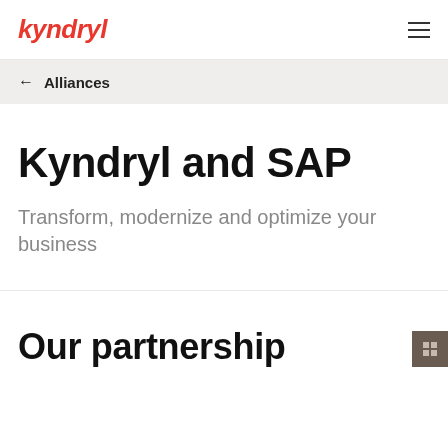kyndryl
← Alliances
Kyndryl and SAP
Transform, modernize and optimize your business
Our partnership